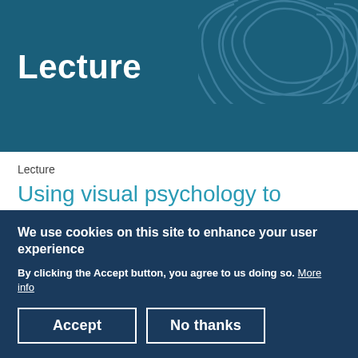Lecture
Lecture
Using visual psychology to interrogate early prehistoric art
Annual joint lecture with Norwich and Norfolk Archaeological Society
Dr Lisa-Elen Meyering (Durham University)
We use cookies on this site to enhance your user experience
By clicking the Accept button, you agree to us doing so. More info
Accept
No thanks